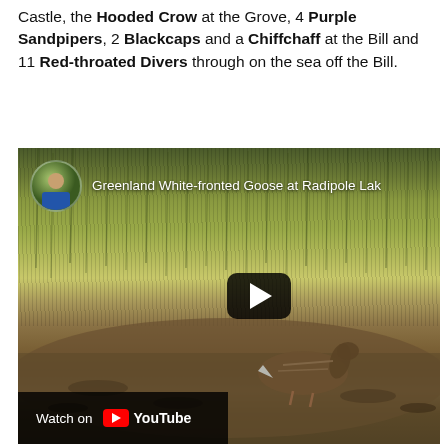Castle, the Hooded Crow at the Grove, 4 Purple Sandpipers, 2 Blackcaps and a Chiffchaff at the Bill and 11 Red-throated Divers through on the sea off the Bill.
[Figure (screenshot): Embedded YouTube video thumbnail showing a Greenland White-fronted Goose at Radipole Lake. The video shows a goose walking in front of tall grass/reed bed background. A circular avatar of a person appears top-left, with the video title 'Greenland White-fronted Goose at Radipole Lak' visible. A play button is shown in the center-right area. A 'Watch on YouTube' bar appears at the bottom left.]